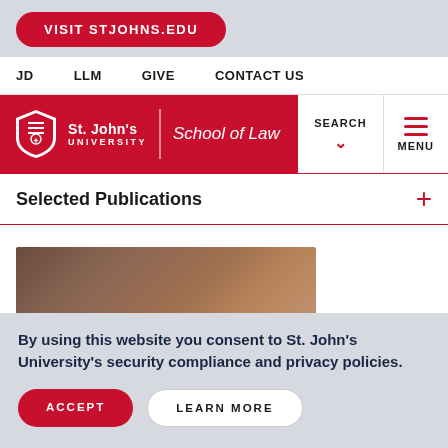[Figure (screenshot): St. John's University School of Law website screenshot showing navigation bar with VISIT STJOHNS.EDU button, nav links JD, LLM, GIVE, CONTACT US, red logo bar with shield and school name, SEARCH and MENU controls, Selected Publications section, a partial image, and a cookie consent overlay]
VISIT STJOHNS.EDU
JD    LLM    GIVE    CONTACT US
St. John's University | School of Law
SEARCH
MENU
Selected Publications
By using this website you consent to St. John's University's security compliance and privacy policies.
ACCEPT
LEARN MORE